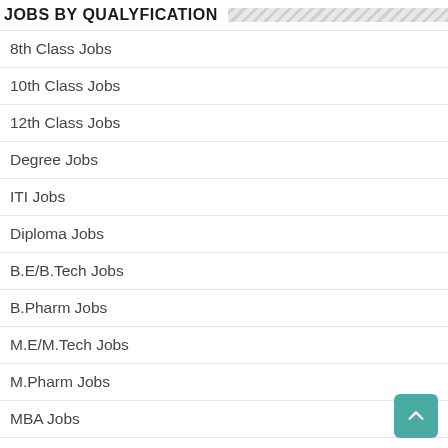JOBS BY QUALYFICATION
8th Class Jobs
10th Class Jobs
12th Class Jobs
Degree Jobs
ITI Jobs
Diploma Jobs
B.E/B.Tech Jobs
B.Pharm Jobs
M.E/M.Tech Jobs
M.Pharm Jobs
MBA Jobs
MCA Jobs
MBBS/MD Jobs